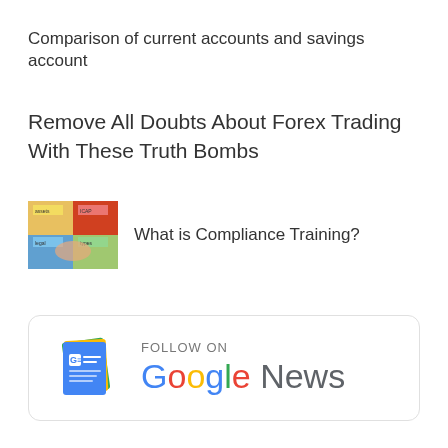Comparison of current accounts and savings account
Remove All Doubts About Forex Trading With These Truth Bombs
[Figure (photo): Small thumbnail image related to compliance training topics]
What is Compliance Training?
[Figure (logo): Follow on Google News button with Google News logo]